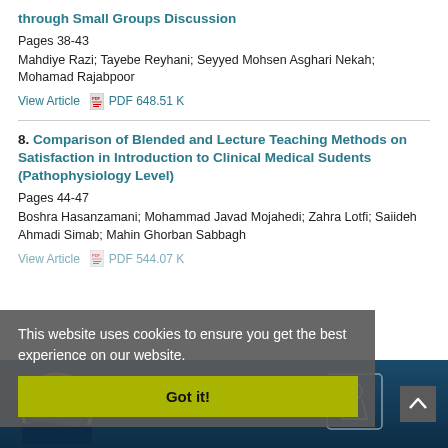through Small Groups Discussion
Pages 38-43
Mahdiye Razi; Tayebe Reyhani; Seyyed Mohsen Asghari Nekah; Mohamad Rajabpoor
View Article  PDF 648.51 K
8. Comparison of Blended and Lecture Teaching Methods on Satisfaction in Introduction to Clinical Medical Sudents (Pathophysiology Level)
Pages 44-47
Boshra Hasanzamani; Mohammad Javad Mojahedi; Zahra Lotfi; Saiideh Ahmadi Simab; Mahin Ghorban Sabbagh
View Article  PDF 544.07 K
This website uses cookies to ensure you get the best experience on our website.
Got it!